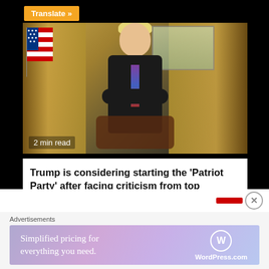[Figure (photo): Person sitting in chair with arms crossed in an ornate office with gold curtains, American flag, and window. Text overlay reads '2 min read'.]
Trump is considering starting the ‘Patriot Party’ after facing criticism from top Republicans over Capitol riot
2 years ago  Nappy Newz
[Figure (infographic): Advertisement banner: 'Simplified pricing for everything you need.' WordPress.com logo on right side.]